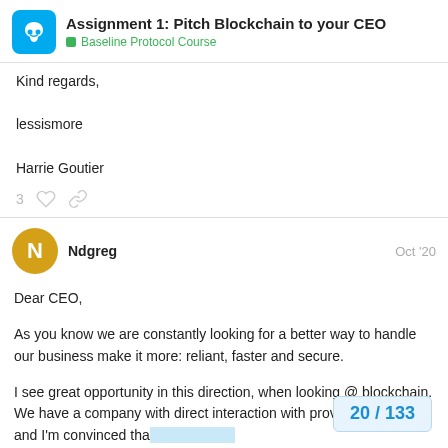Assignment 1: Pitch Blockchain to your CEO
Baseline Protocol Course
Kind regards,

lessismore

Harrie Goutier
3
Ndgreg
Oct '20
Dear CEO,

As you know we are constantly looking for a better way to handle our business make it more: reliant, faster and secure.

I see great opportunity in this direction, when looking @ blockchain. We have a company with direct interaction with provider and clients and I'm convinced tha... assist and improve these processes.
20 / 133